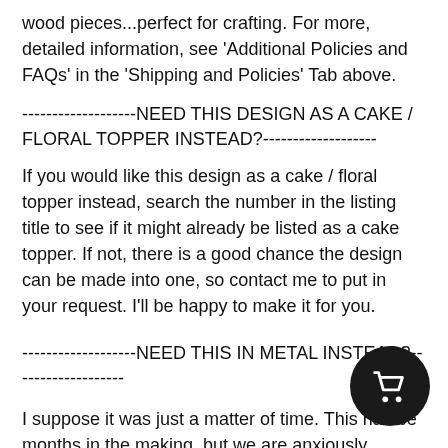wood pieces...perfect for crafting. For more, detailed information, see 'Additional Policies and FAQs' in the 'Shipping and Policies' Tab above.
-------------------NEED THIS DESIGN AS A CAKE / FLORAL TOPPER INSTEAD?-------------------
If you would like this design as a cake / floral topper instead, search the number in the listing title to see if it might already be listed as a cake topper. If not, there is a good chance the design can be made into one, so contact me to put in your request. I'll be happy to make it for you.
-------------------NEED THIS IN METAL INSTEAD?-------------------
I suppose it was just a matter of time. This has be months in the making, but we are anxiously loading the